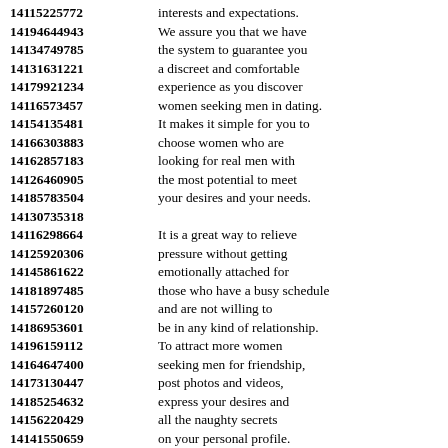14115225772 interests and expectations.
14194644943 We assure you that we have
14134749785 the system to guarantee you
14131631221 a discreet and comfortable
14179921234 experience as you discover
14116573457 women seeking men in dating.
14154135481 It makes it simple for you to
14166303883 choose women who are
14162857183 looking for real men with
14126460905 the most potential to meet
14185783504 your desires and your needs.
14130735318
14116298664 It is a great way to relieve
14125920306 pressure without getting
14145861622 emotionally attached for
14181897485 those who have a busy schedule
14157260120 and are not willing to
14186953601 be in any kind of relationship.
14196159112 To attract more women
14164647400 seeking men for friendship,
14173130447 post photos and videos,
14185254632 express your desires and
14156220429 all the naughty secrets
14141550659 on your personal profile.
14174511122 You can learn a lot by